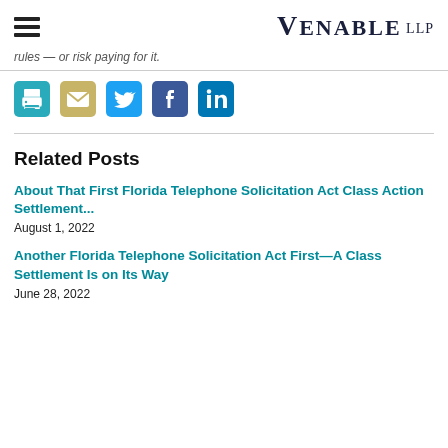Venable LLP
rules — or risk paying for it.
[Figure (infographic): Social sharing icons: print (teal printer), email (tan envelope), Twitter (blue bird), Facebook (dark blue f), LinkedIn (dark blue in)]
Related Posts
About That First Florida Telephone Solicitation Act Class Action Settlement...
August 1, 2022
Another Florida Telephone Solicitation Act First—A Class Settlement Is on Its Way
June 28, 2022